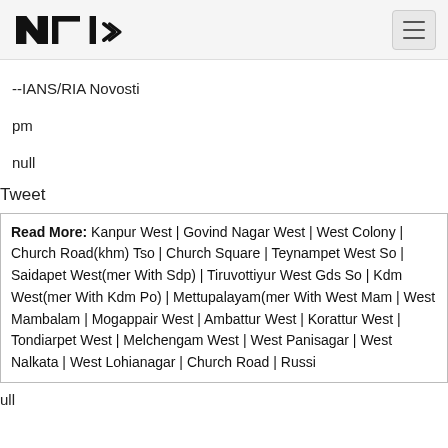NTI logo and hamburger menu
--IANS/RIA Novosti
pm
null
Tweet
Read More: Kanpur West | Govind Nagar West | West Colony | Church Road(khm) Tso | Church Square | Teynampet West So | Saidapet West(mer With Sdp) | Tiruvottiyur West Gds So | Kdm West(mer With Kdm Po) | Mettupalayam(mer With West Mam | West Mambalam | Mogappair West | Ambattur West | Korattur West | Tondiarpet West | Melchengam West | West Panisagar | West Nalkata | West Lohianagar | Church Road | Russi
ull